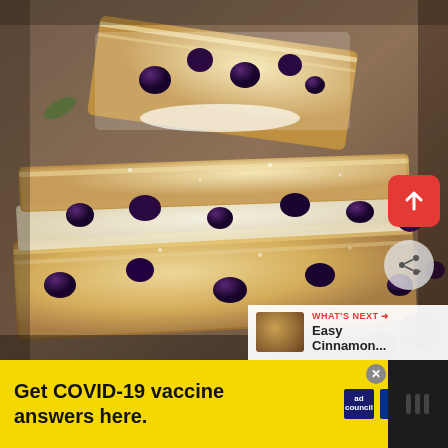[Figure (photo): Close-up photo of stacked blueberry cream cheese puff pastry slices dusted with powdered sugar, with visible blueberries/blackberries and creamy filling between flaky pastry layers. Wooden background. UI overlays include a red upload/share button (top right), a circular share button, and a 'What's Next' panel showing 'Easy Cinnamon...' with a thumbnail.]
WHAT'S NEXT → Easy Cinnamon...
Get COVID-19 vaccine answers here.